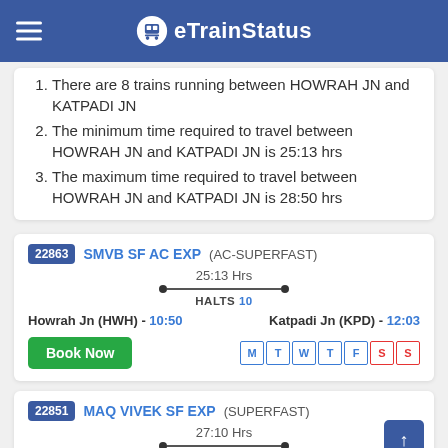eTrainStatus
There are 8 trains running between HOWRAH JN and KATPADI JN
The minimum time required to travel between HOWRAH JN and KATPADI JN is 25:13 hrs
The maximum time required to travel between HOWRAH JN and KATPADI JN is 28:50 hrs
22863 SMVB SF AC EXP (AC-SUPERFAST) — 25:13 Hrs — HALTS 10 — Howrah Jn (HWH) - 10:50 — Katpadi Jn (KPD) - 12:03 — Days: M T W T F S S
22851 MAQ VIVEK SF EXP (SUPERFAST) — 27:10 Hrs